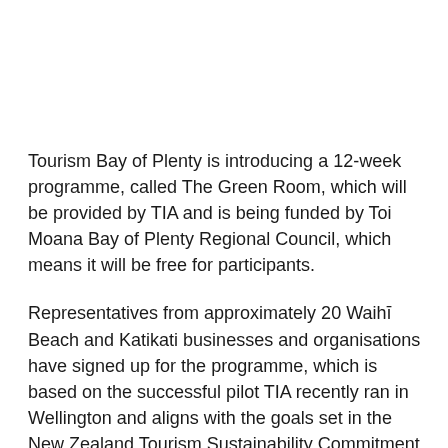Tourism Bay of Plenty is introducing a 12-week programme, called The Green Room, which will be provided by TIA and is being funded by Toi Moana Bay of Plenty Regional Council, which means it will be free for participants.
Representatives from approximately 20 Waihī Beach and Katikati businesses and organisations have signed up for the programme, which is based on the successful pilot TIA recently ran in Wellington and aligns with the goals set in the New Zealand Tourism Sustainability Commitment (TSC).
The Green Room will consist of onsite visits, online webinars, and a customised action plan for each